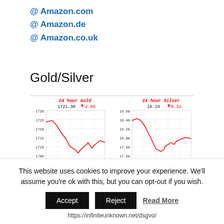@ Amazon.com
@ Amazon.de
@ Amazon.co.uk
Gold/Silver
[Figure (line-chart): 24 hour Gold price chart: 1721.30, down -2.60. Aug 31, 2022 10:37 NY Time, price in USD per oz. Source: www.kitco.com]
[Figure (line-chart): 24 hour Silver price chart: 18.10, down -0.31. Aug 31, 2022 10:37 NY Time, price in USD per oz. Source: www.kitco.com]
This website uses cookies to improve your experience. We'll assume you're ok with this, but you can opt-out if you wish.
Accept | Reject | Read More
https://infiniteunknown.net/dsgvo/